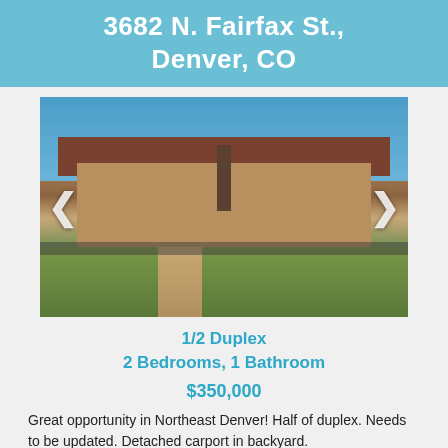3682 N. Fairfax St., Denver, CO
[Figure (photo): Exterior photo of a half duplex ranch-style home with a large bare tree in front, brick facade, chain-link fence, and green lawn. Navigation arrows on left and right sides of image.]
1/2 Duplex
2 Bedrooms, 1 Bathroom
$350,000
Great opportunity in Northeast Denver! Half of duplex. Needs to be updated. Detached carport in backyard.
Call Patrick Harris for more information 303-295-3128